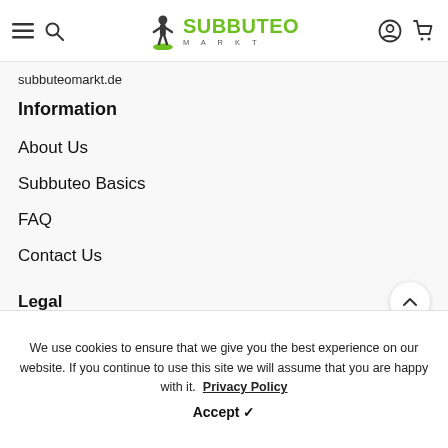SUBBUTEO MARKT — navigation header with hamburger menu, search, logo, user account, and cart icons
subbuteomarkt.de
Information
About Us
Subbuteo Basics
FAQ
Contact Us
Legal
We use cookies to ensure that we give you the best experience on our website. If you continue to use this site we will assume that you are happy with it. Privacy Policy
Accept ✓